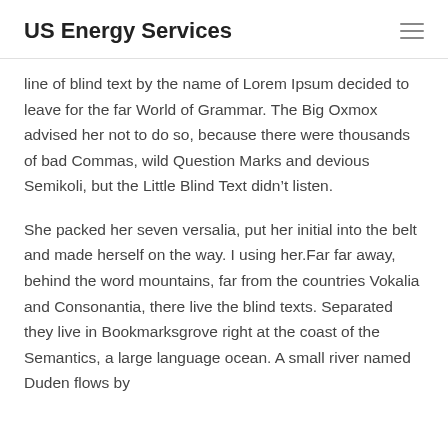US Energy Services
line of blind text by the name of Lorem Ipsum decided to leave for the far World of Grammar. The Big Oxmox advised her not to do so, because there were thousands of bad Commas, wild Question Marks and devious Semikoli, but the Little Blind Text didn’t listen.
She packed her seven versalia, put her initial into the belt and made herself on the way. I using her.Far far away, behind the word mountains, far from the countries Vokalia and Consonantia, there live the blind texts. Separated they live in Bookmarksgrove right at the coast of the Semantics, a large language ocean. A small river named Duden flows by